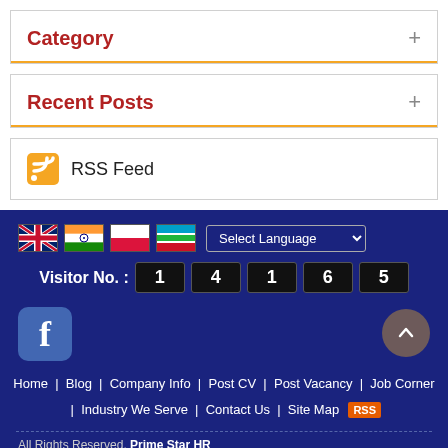Category
Recent Posts
RSS Feed
[Figure (infographic): Footer section with flag icons (UK, India, Poland, Uzbekistan), language selector, visitor counter showing 14165, Facebook icon, scroll-to-top button, navigation links, RSS badge, WhatsApp button, and copyright notice.]
All Rights Reserved. Prime Star HR